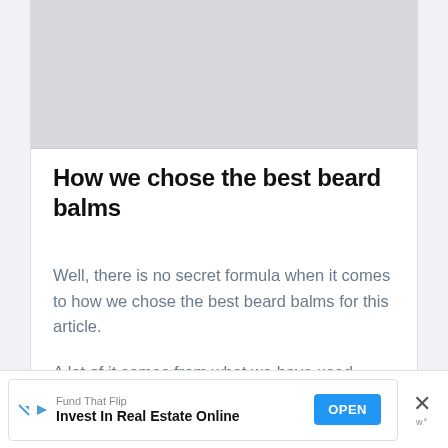[Figure (other): Gray placeholder image block at the top of the content area]
How we chose the best beard balms
Well, there is no secret formula when it comes to how we chose the best beard balms for this article.
A lot of it comes from what we have used before, our experience with them, and also how positive the reviews on the Internet were.
[Figure (other): Advertisement banner: Fund That Flip — Invest In Real Estate Online, with OPEN button and close X]